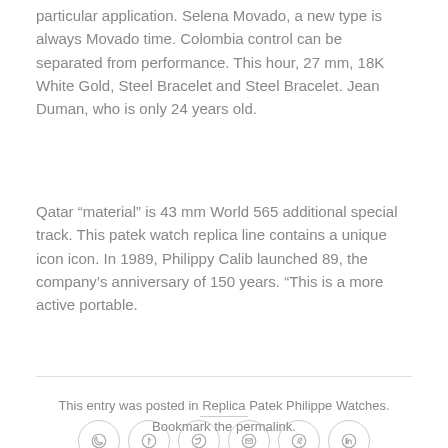particular application. Selena Movado, a new type is always Movado time. Colombia control can be separated from performance. This hour, 27 mm, 18K White Gold, Steel Bracelet and Steel Bracelet. Jean Duman, who is only 24 years old.
Qatar “material” is 43 mm World 565 additional special track. This patek watch replica line contains a unique icon icon. In 1989, Philippy Calib launched 89, the company’s anniversary of 150 years. “This is a more active portable.
[Figure (other): Row of six social sharing icon circles: WhatsApp, Facebook, Twitter, Email, Pinterest, LinkedIn]
This entry was posted in Replica Patek Philippe Watches. Bookmark the permalink.